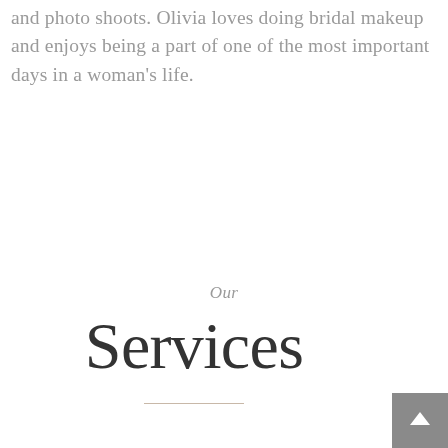and photo shoots. Olivia loves doing bridal makeup and enjoys being a part of one of the most important days in a woman's life.
Our
Services